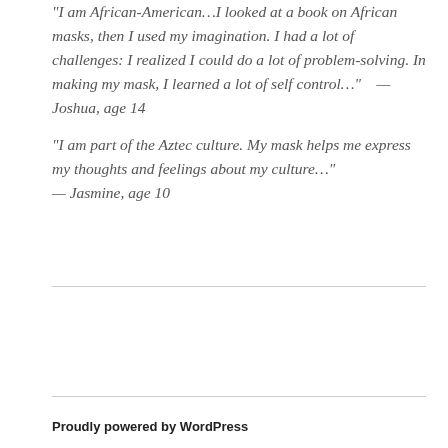"I am African-American…I looked at a book on African masks, then I used my imagination. I had a lot of challenges: I realized I could do a lot of problem-solving. In making my mask, I learned a lot of self control…"    — Joshua, age 14
"I am part of the Aztec culture. My mask helps me express my thoughts and feelings about my culture…"  — Jasmine, age 10
Proudly powered by WordPress